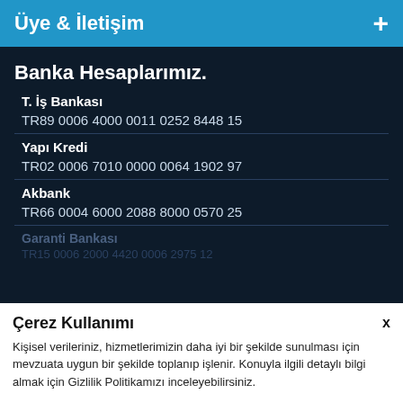Üye & İletişim
Banka Hesaplarımız.
T. İş Bankası
TR89 0006 4000 0011 0252 8448 15
Yapı Kredi
TR02 0006 7010 0000 0064 1902 97
Akbank
TR66 0004 6000 2088 8000 0570 25
Garanti Bankası
TR15 0006 2000 4420 0006 2975 12
Çerez Kullanımı
Kişisel verileriniz, hizmetlerimizin daha iyi bir şekilde sunulması için mevzuata uygun bir şekilde toplanıp işlenir. Konuyla ilgili detaylı bilgi almak için Gizlilik Politikamızı inceleyebilirsiniz.